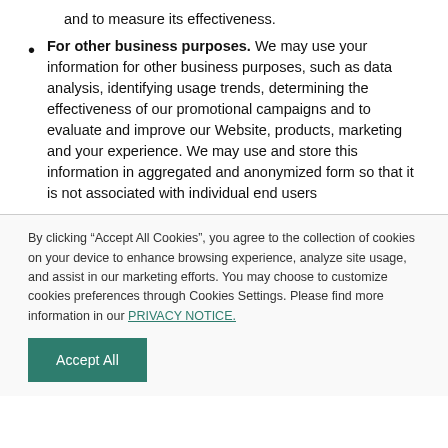and to measure its effectiveness.
For other business purposes. We may use your information for other business purposes, such as data analysis, identifying usage trends, determining the effectiveness of our promotional campaigns and to evaluate and improve our Website, products, marketing and your experience. We may use and store this information in aggregated and anonymized form so that it is not associated with individual end users
By clicking “Accept All Cookies”, you agree to the collection of cookies on your device to enhance browsing experience, analyze site usage, and assist in our marketing efforts. You may choose to customize cookies preferences through Cookies Settings. Please find more information in our PRIVACY NOTICE.
Accept All